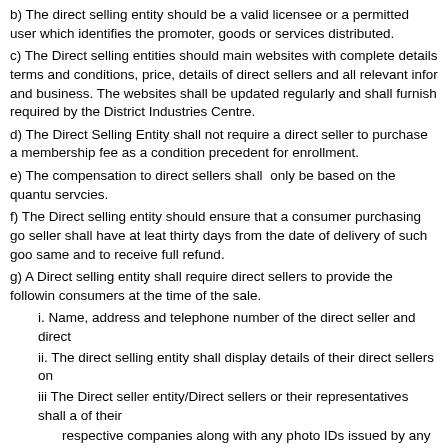b) The direct selling entity should be a valid licensee or a permitted user which identifies the promoter, goods or services distributed.
c) The Direct selling entities should main websites with complete details terms and conditions, price, details of direct sellers and all relevant information and business. The websites shall be updated regularly and shall furnish required by the District Industries Centre.
d) The Direct Selling Entity shall not require a direct seller to purchase a membership fee as a condition precedent for enrollment.
e) The compensation to direct sellers shall only be based on the quantity servcies.
f) The Direct selling entity should ensure that a consumer purchasing goods seller shall have at leat thirty days from the date of delivery of such goods same and to receive full refund.
g) A Direct selling entity shall require direct sellers to provide the following consumers at the time of the sale.
i. Name, address and telephone number of the direct seller and direct
ii. The direct selling entity shall display details of their direct sellers on
iii The Direct seller entity/Direct sellers or their representatives shall a of their
respective companies along with any photo IDs issued by any Gove
iv A description of the goods or services to be suplied.
v The order date, the total amount to be paid by the consumer along w
vi Time and place for inspec;tio ofthe sample and delivery of goods.
vii A notice to the consumer of the consumer's rights to cancel the orde